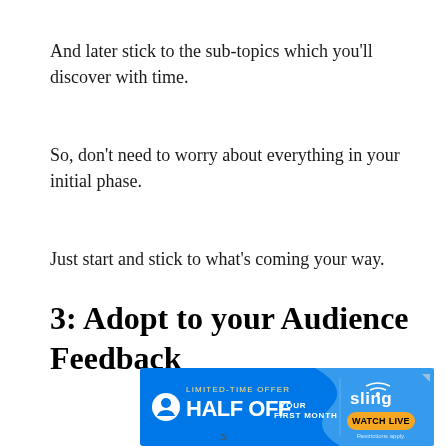And later stick to the sub-topics which you’ll discover with time.
So, don’t need to worry about everything in your initial phase.
Just start and stick to what’s coming your way.
3: Adopt to your Audience Feedback
[Figure (other): Advertisement banner for Sling TV: LIMITED-TIME OFFER HALF OFF YOUR FIRST MONTH, WATCH LIVE, Restrictions apply.]
x